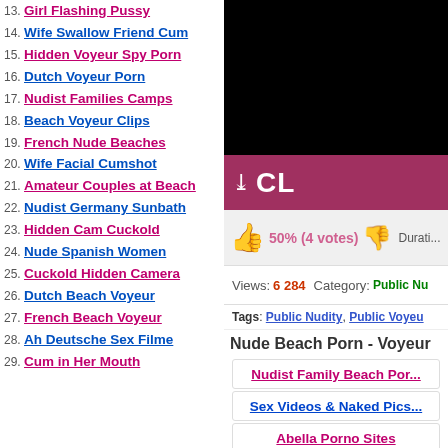13. Girl Flashing Pussy
14. Wife Swallow Friend Cum
15. Hidden Voyeur Spy Porn
16. Dutch Voyeur Porn
17. Nudist Families Camps
18. Beach Voyeur Clips
19. French Nude Beaches
20. Wife Facial Cumshot
21. Amateur Couples at Beach
22. Nudist Germany Sunbath
23. Hidden Cam Cuckold
24. Nude Spanish Women
25. Cuckold Hidden Camera
26. Dutch Beach Voyeur
27. French Beach Voyeur
28. Ah Deutsche Sex Filme
29. Cum in Her Mouth
[Figure (screenshot): Black video player area]
CL... (click bar with chevron)
50% (4 votes)  Duration:
Views: 6 284  Category: Public Nu...
Tags: Public Nudity, Public Voyeu...
Nude Beach Porn - Voyeur
Nudist Family Beach Por...
Sex Videos & Naked Pics...
Abella Porno Sites